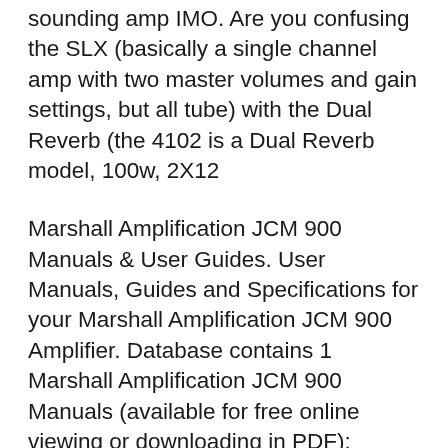sounding amp IMO. Are you confusing the SLX (basically a single channel amp with two master volumes and gain settings, but all tube) with the Dual Reverb (the 4102 is a Dual Reverb model, 100w, 2X12
Marshall Amplification JCM 900 Manuals & User Guides. User Manuals, Guides and Specifications for your Marshall Amplification JCM 900 Amplifier. Database contains 1 Marshall Amplification JCM 900 Manuals (available for free online viewing or downloading in PDF): Handbook . [QUESTION] Another Question about Ohms - Marshall JCM 900 2x12 combo and 1960 Lead Cab? Sorry for the